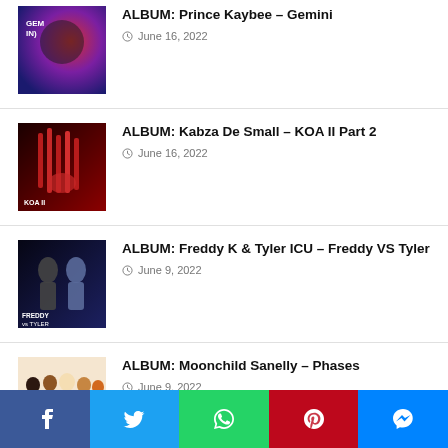ALBUM: Prince Kaybee – Gemini
June 16, 2022
ALBUM: Kabza De Small – KOA II Part 2
June 16, 2022
ALBUM: Freddy K & Tyler ICU – Freddy VS Tyler
June 9, 2022
ALBUM: Moonchild Sanelly – Phases
June 9, 2022
(partial item visible)